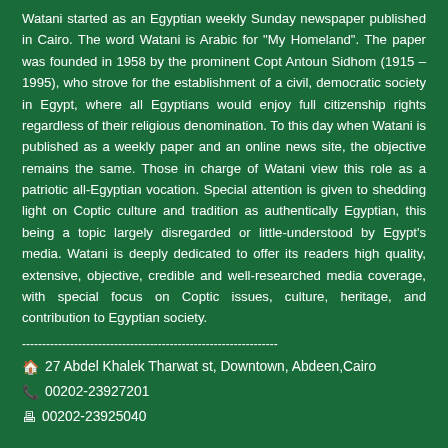Watani started as an Egyptian weekly Sunday newspaper published in Cairo. The word Watani is Arabic for "My Homeland". The paper was founded in 1958 by the prominent Copt Antoun Sidhom (1915 – 1995), who strove for the establishment of a civil, democratic society in Egypt, where all Egyptians would enjoy full citizenship rights regardless of their religious denomination. To this day when Watani is published as a weekly paper and an online news site, the objective remains the same. Those in charge of Watani view this role as a patriotic all-Egyptian vocation. Special attention is given to shedding light on Coptic culture and tradition as authentically Egyptian, this being a topic largely disregarded or little-understood by Egypt's media. Watani is deeply dedicated to offer its readers high quality, extensive, objective, credible and well-researched media coverage, with special focus on Coptic issues, culture, heritage, and contribution to Egyptian society.
----------------------------------------------------------------
🏠 27 Abdel Khalek Tharwat st, Downtown, Abdeen,Cairo
📞 00202-23927201
🖨 00202-23925040